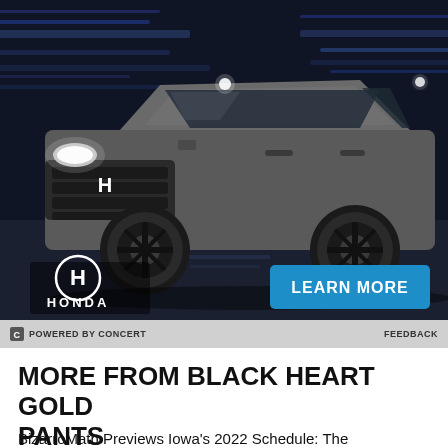[Figure (photo): Honda SUV advertisement showing a gray Honda crossover SUV driving at speed in a dark tunnel/road environment. The Honda logo and 'HONDA' wordmark appear in the lower left. A blue 'LEARN MORE' button appears in the lower right of the ad.]
POWERED BY CONCERT    FEEDBACK
MORE FROM BLACK HEART GOLD PANTS
BizarroMath Previews Iowa's 2022 Schedule: The